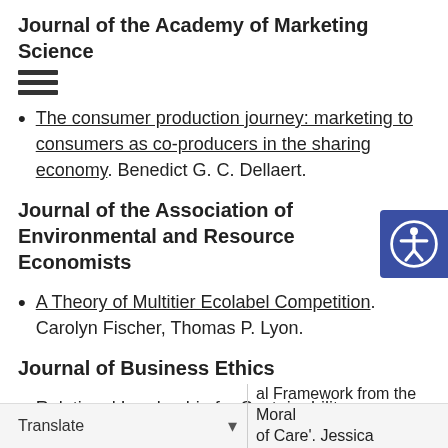Journal of the Academy of Marketing Science
The consumer production journey: marketing to consumers as co-producers in the sharing economy. Benedict G. C. Dellaert.
Journal of the Association of Environmental and Resource Economists
A Theory of Multitier Ecolabel Competition. Carolyn Fischer, Thomas P. Lyon.
Journal of Business Ethics
Relational Leadership for Sustainability: al Framework from the Moral of Care'. Jessica Nicholson,